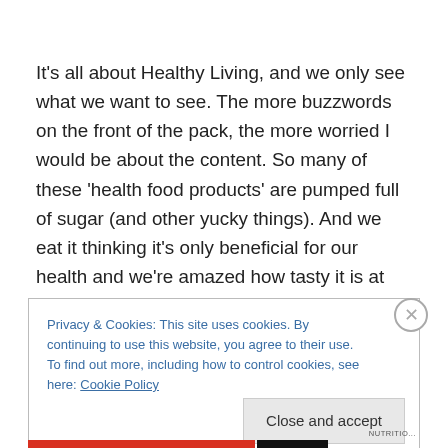It's all about Healthy Living, and we only see what we want to see. The more buzzwords on the front of the pack, the more worried I would be about the content. So many of these 'health food products' are pumped full of sugar (and other yucky things). And we eat it thinking it's only beneficial for our health and we're amazed how tasty it is at the same time. Because we want to be fooled, we want
Privacy & Cookies: This site uses cookies. By continuing to use this website, you agree to their use.
To find out more, including how to control cookies, see here: Cookie Policy
Close and accept